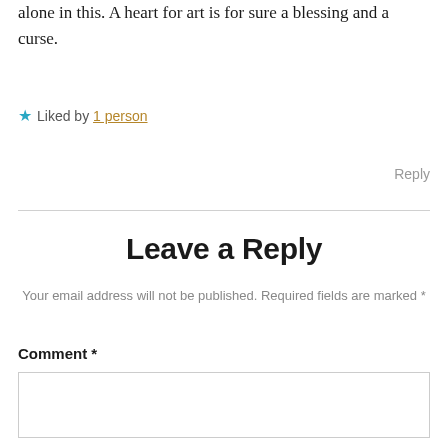alone in this. A heart for art is for sure a blessing and a curse.
★ Liked by 1 person
Reply
Leave a Reply
Your email address will not be published. Required fields are marked *
Comment *